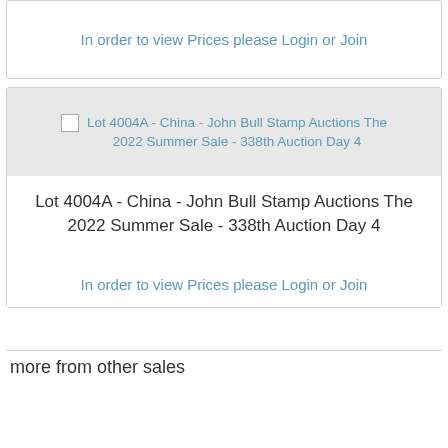In order to view Prices please Login or Join
[Figure (other): Broken image placeholder for Lot 4004A - China - John Bull Stamp Auctions The 2022 Summer Sale - 338th Auction Day 4]
Lot 4004A - China - John Bull Stamp Auctions The 2022 Summer Sale - 338th Auction Day 4
In order to view Prices please Login or Join
more from other sales